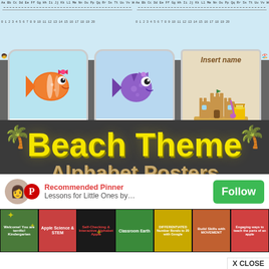[Figure (screenshot): Top section showing ABC alphabet strips and number lines in two panels]
[Figure (screenshot): Three name card templates with cartoon fish (orange clownfish, purple fish) and beach sandcastle image, each labeled 'Insert name']
[Figure (screenshot): Beach Theme Alphabet Posters title card on dark chalkboard background with yellow title text and palm tree decorations]
[Figure (screenshot): Pinterest Recommended Pinner popup showing 'Lessons for Little Ones by...' with Follow button and thumbnail strip of educational content, with X CLOSE button]